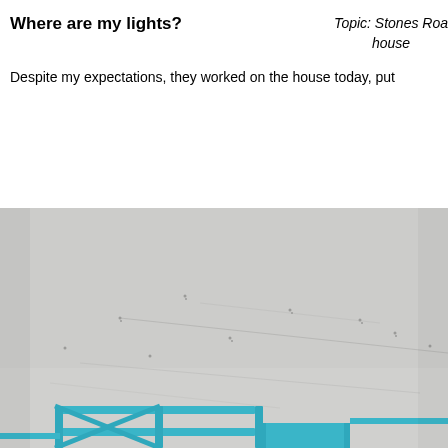Where are my lights?
Topic: Stones Road house
Despite my expectations, they worked on the house today, put
[Figure (photo): Interior photo of a ceiling with drywall/plasterboard installed, showing screw points and seam lines. In the lower portion, blue metal scaffolding framing is visible.]